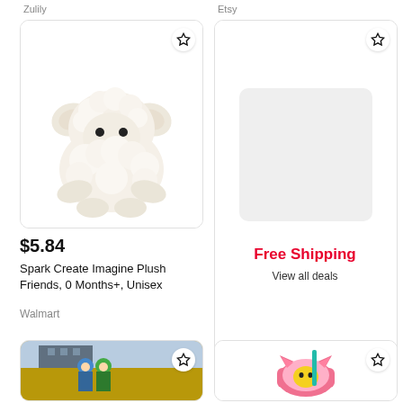Zulily
Etsy
[Figure (photo): White fluffy lamb plush toy sitting upright, with soft cream-colored fur, small black eyes, and a friendly expression. Displayed inside a white rounded card.]
$5.84
Spark Create Imagine Plush Friends, 0 Months+, Unisex
Walmart
[Figure (other): Card with gray rounded rectangle placeholder image and 'Free Shipping' in red bold text and 'View all deals' link below.]
Free Shipping
View all deals
[Figure (photo): Two small anime/toy figurines with blue and green hair standing in a field with dry grass in the background.]
[Figure (photo): Pink cat-themed children's cup or water bottle with teal straw and yellow cat face decoration.]